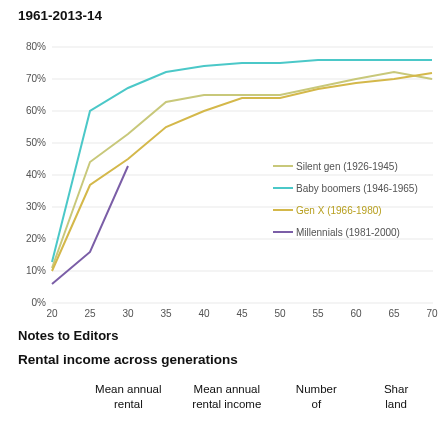1961-2013-14
[Figure (line-chart): Line chart showing homeownership rates by age for four generations: Silent gen, Baby boomers, Gen X, and Millennials, from age 20 to 70.]
Notes to Editors
Rental income across generations
|  | Mean annual rental | Mean annual rental income | Number of | Shar land |
| --- | --- | --- | --- | --- |